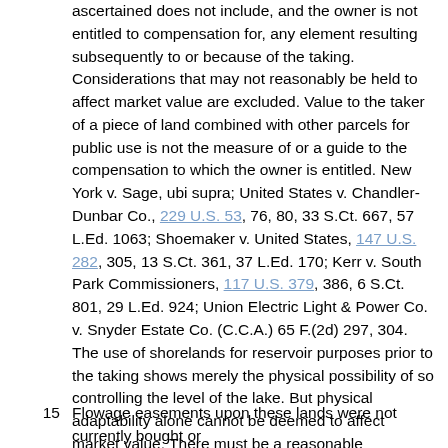ascertained does not include, and the owner is not entitled to compensation for, any element resulting subsequently to or because of the taking. Considerations that may not reasonably be held to affect market value are excluded. Value to the taker of a piece of land combined with other parcels for public use is not the measure of or a guide to the compensation to which the owner is entitled. New York v. Sage, ubi supra; United States v. Chandler-Dunbar Co., 229 U.S. 53, 76, 80, 33 S.Ct. 667, 57 L.Ed. 1063; Shoemaker v. United States, 147 U.S. 282, 305, 13 S.Ct. 361, 37 L.Ed. 170; Kerr v. South Park Commissioners, 117 U.S. 379, 386, 6 S.Ct. 801, 29 L.Ed. 924; Union Electric Light & Power Co. v. Snyder Estate Co. (C.C.A.) 65 F.(2d) 297, 304. The use of shorelands for reservoir purposes prior to the taking shows merely the physical possibility of so controlling the level of the lake. But physical adaptability alone cannot be deemed to affect market value. There must be a reasonable possibility that the owner could use his tract together with the other shorelands for reservoir purposes or that another could acquire all lands or easements necessary for that use. The trespass committed by means of the dams added nothing to the value of the shorelands.
15  Flowage easements upon these lands were not currently bought or